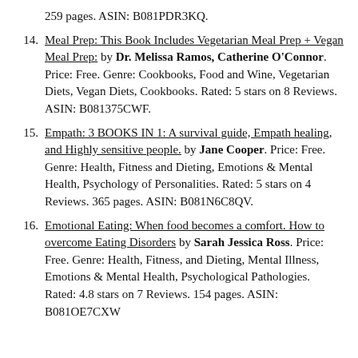259 pages. ASIN: B081PDR3KQ.
14. Meal Prep: This Book Includes Vegetarian Meal Prep + Vegan Meal Prep: by Dr. Melissa Ramos, Catherine O'Connor. Price: Free. Genre: Cookbooks, Food and Wine, Vegetarian Diets, Vegan Diets, Cookbooks. Rated: 5 stars on 8 Reviews. ASIN: B081375CWF.
15. Empath: 3 BOOKS IN 1: A survival guide, Empath healing, and Highly sensitive people. by Jane Cooper. Price: Free. Genre: Health, Fitness and Dieting, Emotions & Mental Health, Psychology of Personalities. Rated: 5 stars on 4 Reviews. 365 pages. ASIN: B081N6C8QV.
16. Emotional Eating: When food becomes a comfort. How to overcome Eating Disorders by Sarah Jessica Ross. Price: Free. Genre: Health, Fitness, and Dieting, Mental Illness, Emotions & Mental Health, Psychological Pathologies. Rated: 4.8 stars on 7 Reviews. 154 pages. ASIN: B081OE7CXW